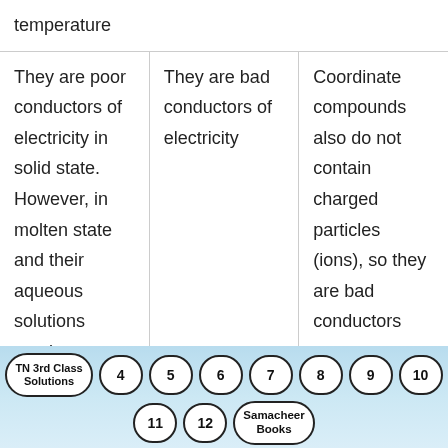| temperature |  |  |
| They are poor conductors of electricity in solid state. However, in molten state and their aqueous solutions conduct | They are bad conductors of electricity | Coordinate compounds also do not contain charged particles (ions), so they are bad conductors |
TN 3rd Class Solutions  4  5  6  7  8  9  10  11  12  Samacheer Books